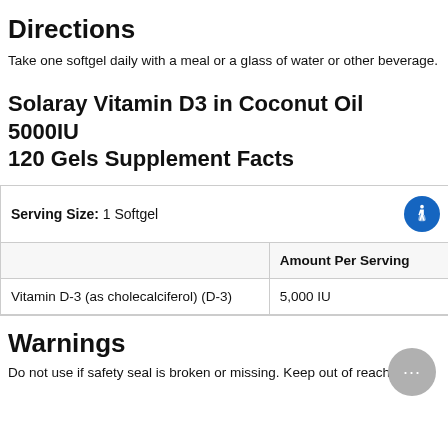Directions
Take one softgel daily with a meal or a glass of water or other beverage.
Solaray Vitamin D3 in Coconut Oil 5000IU 120 Gels Supplement Facts
|  | Amount Per Serving |
| --- | --- |
| Vitamin D-3 (as cholecalciferol) (D-3) | 5,000 IU |
Warnings
Do not use if safety seal is broken or missing. Keep out of reach of